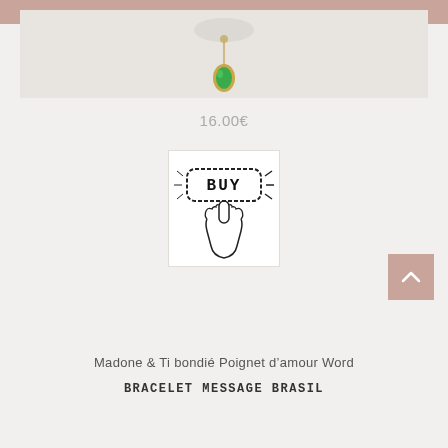[Figure (photo): Photo of a necklace with a green oval gemstone pendant on a gold chain, partially visible at top of page against a light background, with a pink/mauve header bar at the very top.]
16.00€
[Figure (illustration): Illustration of a hand with pointing finger pressing a button/badge that reads 'BUY' with dotted border, in black and white sketch style.]
[Figure (other): Back to top arrow button, pink/mauve square with white upward chevron arrow.]
Madone & Ti bondié Poignet d'amour Word
BRACELET MESSAGE BRASIL